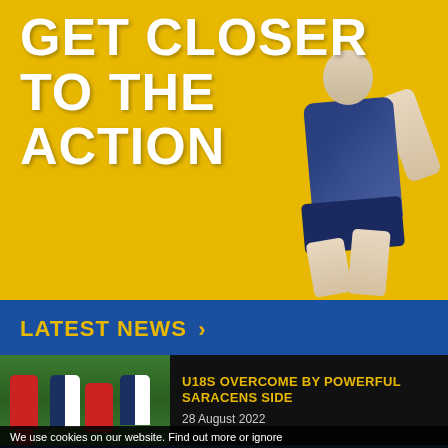[Figure (photo): Hero banner with yellow/gold background showing a rugby player in blue and navy kit. Large white bold text reads 'GET CLOSER TO THE ACTION'.]
GET CLOSER TO THE ACTION
LATEST NEWS >
[Figure (photo): Photo of a rugby match showing players in red and blue/white hooped kits competing on a green field.]
U18S OVERCOME BY POWERFUL SARACENS SIDE
28 August 2022
We use cookies on our website. Find out more or ignore